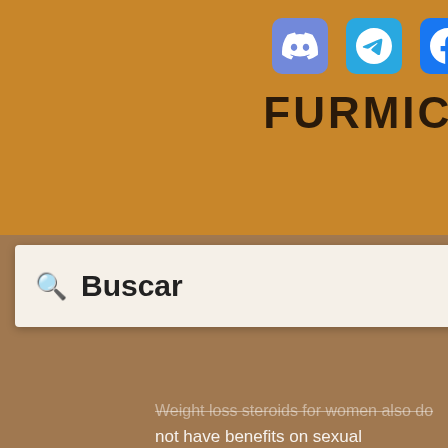[Figure (logo): Furmics website header with Discord, Telegram, and Facebook social icons above the bold text FURMICS]
Buscar
Weight loss steroids for women also do not have benefits on sexual performance. If your body is making a lot of testosterone with its diet, this could influence your ability to have sex, so if your body is producing a lot of sex hormones, you could have some trouble with your ability to have erections, when to take clenbuterol for weight loss. Also, testosterone in the body will alter your body's natural hormones so that you may not want the same amount of sex hormones than you do now, are collagen peptides good for weight loss.